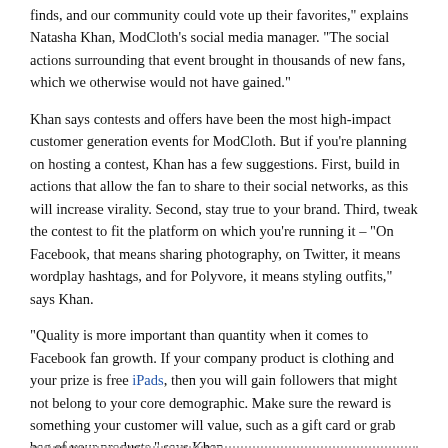finds, and our community could vote up their favorites," explains Natasha Khan, ModCloth's social media manager. "The social actions surrounding that event brought in thousands of new fans, which we otherwise would not have gained."
Khan says contests and offers have been the most high-impact customer generation events for ModCloth. But if you're planning on hosting a contest, Khan has a few suggestions. First, build in actions that allow the fan to share to their social networks, as this will increase virality. Second, stay true to your brand. Third, tweak the contest to fit the platform on which you're running it – "On Facebook, that means sharing photography, on Twitter, it means wordplay hashtags, and for Polyvore, it means styling outfits," says Khan.
"Quality is more important than quantity when it comes to Facebook fan growth. If your company product is clothing and your prize is free iPads, then you will gain followers that might not belong to your core demographic. Make sure the reward is something your customer will value, such as a gift card or grab bag of your products," says Khan.